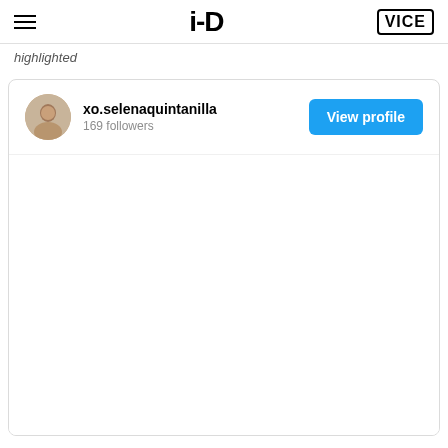i-D | VICE
highlighted
[Figure (screenshot): Instagram profile embed card showing user xo.selenaquintanilla with 169 followers and a View profile button]